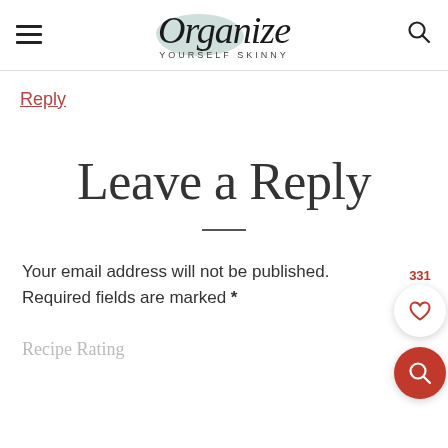Organize Yourself Skinny
Reply
Leave a Reply
Your email address will not be published. Required fields are marked *
Recipe Rating